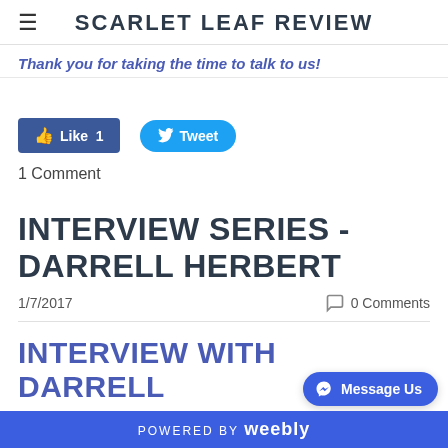SCARLET LEAF REVIEW
Thank you for taking the time to talk to us!
Like 1   Tweet
1 Comment
INTERVIEW SERIES - DARRELL HERBERT
1/7/2017   0 Comments
INTERVIEW WITH DARRELL
POWERED BY weebly